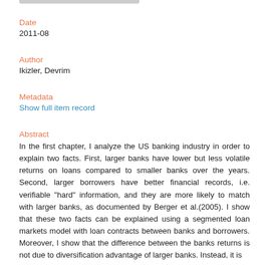Date
2011-08
Author
Ikizler, Devrim
Metadata
Show full item record
Abstract
In the first chapter, I analyze the US banking industry in order to explain two facts. First, larger banks have lower but less volatile returns on loans compared to smaller banks over the years. Second, larger borrowers have better financial records, i.e. verifiable "hard" information, and they are more likely to match with larger banks, as documented by Berger et al.(2005). I show that these two facts can be explained using a segmented loan markets model with loan contracts between banks and borrowers. Moreover, I show that the difference between the banks returns is not due to diversification advantage of larger banks. Instead, it is